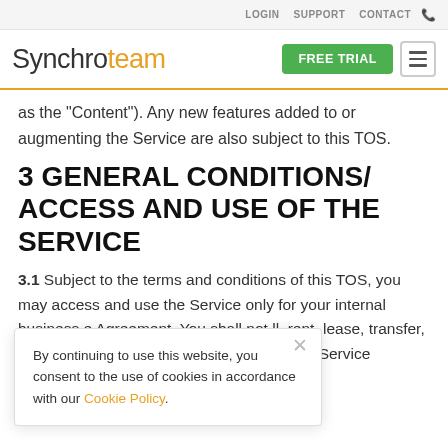LOGIN  SUPPORT  CONTACT  📞
[Figure (logo): Synchroteam logo with orange 'team' text, FREE TRIAL green button, and hamburger menu icon]
as the "Content"). Any new features added to or augmenting the Service are also subject to this TOS.
3 GENERAL CONDITIONS/ ACCESS AND USE OF THE SERVICE
3.1 Subject to the terms and conditions of this TOS, you may access and use the Service only for your internal business e Agreement. You shall not ll, rent, lease, transfer, otherwise commercially exploit or make the Service available to any third party, other
By continuing to use this website, you consent to the use of cookies in accordance with our Cookie Policy.